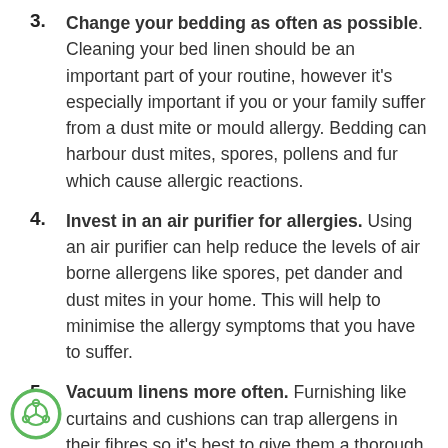3. Change your bedding as often as possible. Cleaning your bed linen should be an important part of your routine, however it's especially important if you or your family suffer from a dust mite or mould allergy. Bedding can harbour dust mites, spores, pollens and fur which cause allergic reactions.
4. Invest in an air purifier for allergies. Using an air purifier can help reduce the levels of air borne allergens like spores, pet dander and dust mites in your home. This will help to minimise the allergy symptoms that you have to suffer.
5. Vacuum linens more often. Furnishing like curtains and cushions can trap allergens in their fibres so it's best to give them a thorough